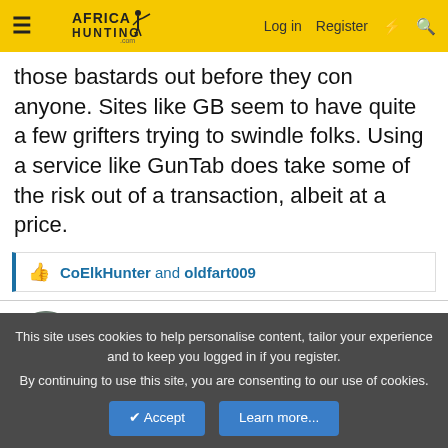Africa Hunting .com — Log in | Register
those bastards out before they con anyone. Sites like GB seem to have quite a few grifters trying to swindle folks. Using a service like GunTab does take some of the risk out of a transaction, albeit at a price.
CoElkHunter and oldfart009
Ridge Runner
AH elite
Feb 25, 2022  #34
if it is within a reasonable drive to both parties I prefer to
This site uses cookies to help personalise content, tailor your experience and to keep you logged in if you register.
By continuing to use this site, you are consenting to our use of cookies.